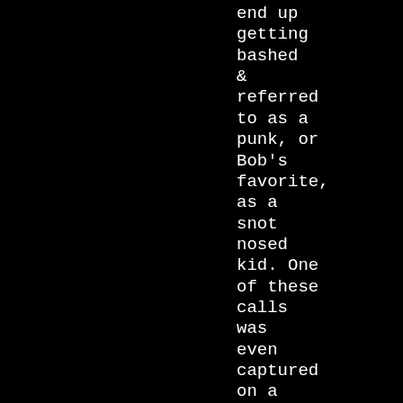end up getting bashed & referred to as a punk, or Bob's favorite, as a snot nosed kid. One of these calls was even captured on a website clip of one of Bob's